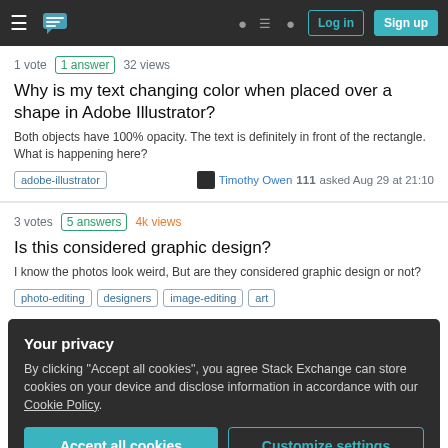Stack Exchange navigation bar with Log in and Sign up buttons
1 vote  1 answer  32 views
Why is my text changing color when placed over a shape in Adobe Illustrator?
Both objects have 100% opacity. The text is definitely in front of the rectangle. What is happening here?
adobe-illustrator   Timothy Owen  111  asked Aug 29 at 21:10
3 votes  5 answers  4k views
Is this considered graphic design?
I know the photos look weird, But are they considered graphic design or not?
photo-editing  designers  image-editing  art
Your privacy
By clicking "Accept all cookies", you agree Stack Exchange can store cookies on your device and disclose information in accordance with our Cookie Policy.
Accept all cookies   Customize settings
digital coloring, coloring children art, etc, where the basics of Photoshop are…